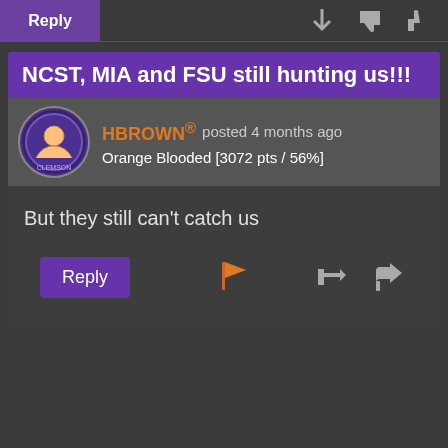NCST, MIA and FSU still hunting us!!!
HBROWN® posted 4 months ago
Orange Blooded [3072 pts / 56%]
But they still can't catch us